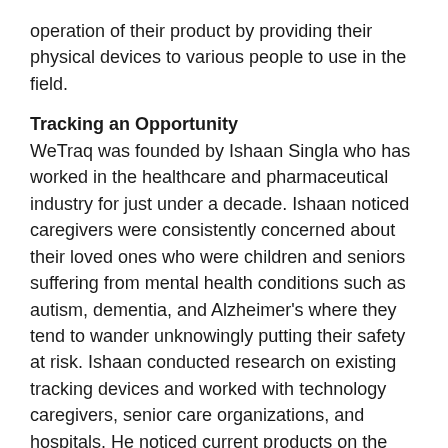operation of their product by providing their physical devices to various people to use in the field.
Tracking an Opportunity
WeTraq was founded by Ishaan Singla who has worked in the healthcare and pharmaceutical industry for just under a decade. Ishaan noticed caregivers were consistently concerned about their loved ones who were children and seniors suffering from mental health conditions such as autism, dementia, and Alzheimer's where they tend to wander unknowingly putting their safety at risk. Ishaan conducted research on existing tracking devices and worked with technology caregivers, senior care organizations, and hospitals. He noticed current products on the market are based only on traditional Bluetooth or GPS technology and lacked sufficient